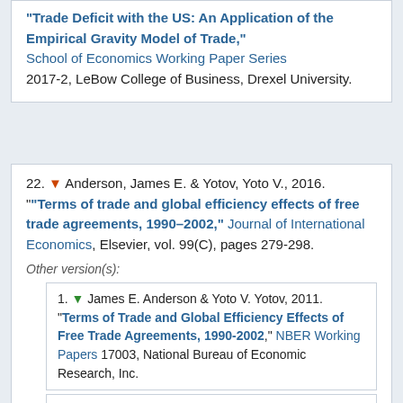"Trade Deficit with the US: An Application of the Empirical Gravity Model of Trade," School of Economics Working Paper Series 2017-2, LeBow College of Business, Drexel University.
22. Anderson, James E. & Yotov, Yoto V., 2016. "Terms of trade and global efficiency effects of free trade agreements, 1990–2002," Journal of International Economics, Elsevier, vol. 99(C), pages 279-298.
Other version(s):
1. James E. Anderson & Yoto V. Yotov, 2011. "Terms of Trade and Global Efficiency Effects of Free Trade Agreements, 1990-2002," NBER Working Papers 17003, National Bureau of Economic Research, Inc.
2. Anderson, James & Yotov, Yoto, 2012. "Terms of Trade and Global Efficiency Effects of Free Trade Agreements, 1990-...